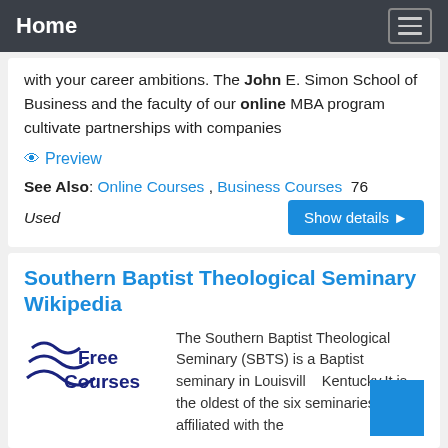Home
with your career ambitions. The John E. Simon School of Business and the faculty of our online MBA program cultivate partnerships with companies
Preview
See Also: Online Courses , Business Courses  76 Used
Southern Baptist Theological Seminary Wikipedia
The Southern Baptist Theological Seminary (SBTS) is a Baptist seminary in Louisville, Kentucky.It is the oldest of the six seminaries affiliated with the